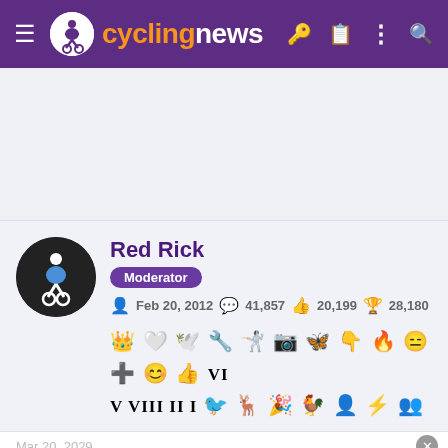cyclingnews
[Figure (screenshot): Gray advertisement banner area (empty)]
Red Rick
Moderator
Feb 20, 2012  41,857  20,199  28,180
[Figure (infographic): Row of achievement/badge icons and Roman numerals VI, V, VIII, II, I]
Mar 20, 2029
[Figure (infographic): Advertisement: Lane's BBQ - Seasonings and Sauces - SHOP NOW button]